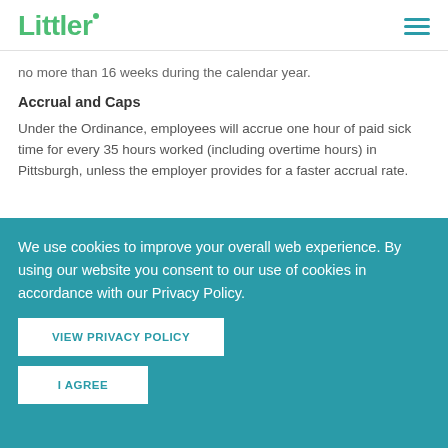Littler
no more than 16 weeks during the calendar year.
Accrual and Caps
Under the Ordinance, employees will accrue one hour of paid sick time for every 35 hours worked (including overtime hours) in Pittsburgh, unless the employer provides for a faster accrual rate.
We use cookies to improve your overall web experience. By using our website you consent to our use of cookies in accordance with our Privacy Policy.
VIEW PRIVACY POLICY
I AGREE